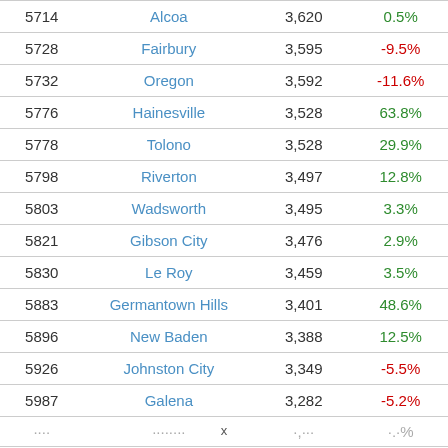| Rank | City | Population | Change |
| --- | --- | --- | --- |
| 5714 | Alcoa | 3,620 | 0.5% |
| 5728 | Fairbury | 3,595 | -9.5% |
| 5732 | Oregon | 3,592 | -11.6% |
| 5776 | Hainesville | 3,528 | 63.8% |
| 5778 | Tolono | 3,528 | 29.9% |
| 5798 | Riverton | 3,497 | 12.8% |
| 5803 | Wadsworth | 3,495 | 3.3% |
| 5821 | Gibson City | 3,476 | 2.9% |
| 5830 | Le Roy | 3,459 | 3.5% |
| 5883 | Germantown Hills | 3,401 | 48.6% |
| 5896 | New Baden | 3,388 | 12.5% |
| 5926 | Johnston City | 3,349 | -5.5% |
| 5987 | Galena | 3,282 | -5.2% |
| ... | ... | ... | ... |